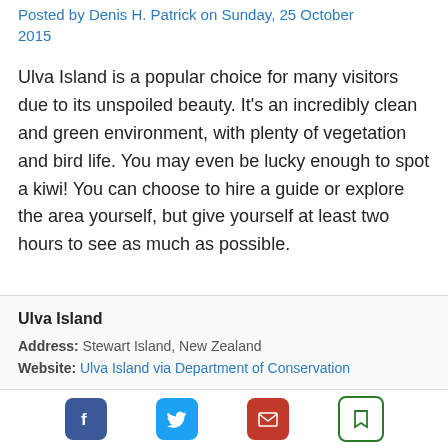Posted by Denis H. Patrick on Sunday, 25 October 2015
Ulva Island is a popular choice for many visitors due to its unspoiled beauty. It's an incredibly clean and green environment, with plenty of vegetation and bird life. You may even be lucky enough to spot a kiwi! You can choose to hire a guide or explore the area yourself, but give yourself at least two hours to see as much as possible.
Ulva Island
Address: Stewart Island, New Zealand
Website: Ulva Island via Department of Conservation